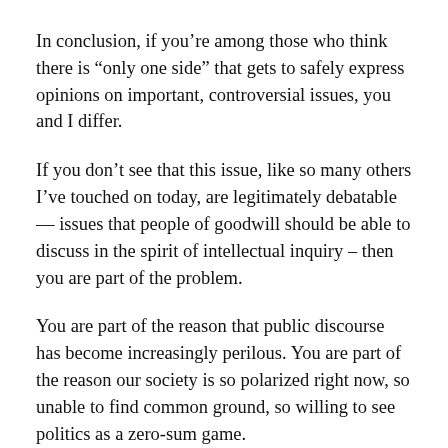In conclusion, if you’re among those who think there is “only one side” that gets to safely express opinions on important, controversial issues, you and I differ.
If you don’t see that this issue, like so many others I’ve touched on today, are legitimately debatable — issues that people of goodwill should be able to discuss in the spirit of intellectual inquiry – then you are part of the problem.
You are part of the reason that public discourse has become increasingly perilous. You are part of the reason our society is so polarized right now, so unable to find common ground, so willing to see politics as a zero-sum game.
But if you’re not afraid of debate –of hearing and engaging with views that differ from your own – then